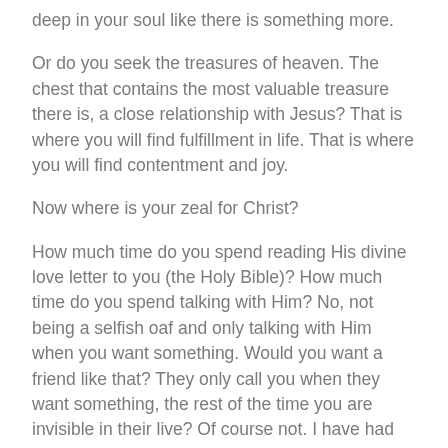deep in your soul like there is something more.
Or do you seek the treasures of heaven. The chest that contains the most valuable treasure there is, a close relationship with Jesus? That is where you will find fulfillment in life. That is where you will find contentment and joy.
Now where is your zeal for Christ?
How much time do you spend reading His divine love letter to you (the Holy Bible)? How much time do you spend talking with Him? No, not being a selfish oaf and only talking with Him when you want something. Would you want a friend like that? They only call you when they want something, the rest of the time you are invisible in their live? Of course not. I have had many relationships like that and speak from experience to say it is degrading and insulting to you to have those types of friends. So too it is